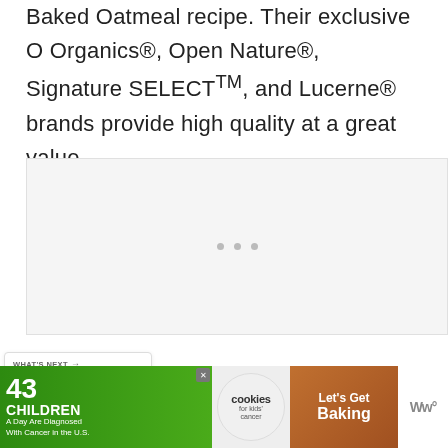Baked Oatmeal recipe. Their exclusive O Organics®, Open Nature®, Signature SELECT™, and Lucerne® brands provide high quality at a great value.
[Figure (other): Gray placeholder box with three dots in the center, representing a loading or ad placeholder area]
[Figure (infographic): Heart/favorite button (dark green circle with white heart icon) and share button (white circle with share icon)]
[Figure (photo): What's Next navigation card showing 'Carrot Cake Overnight...' with a circular photo of carrots]
[Figure (infographic): Advertisement banner: '43 CHILDREN A Day Are Diagnosed With Cancer in the U.S.' with cookies for kids' cancer logo and Let's Get Baking text]